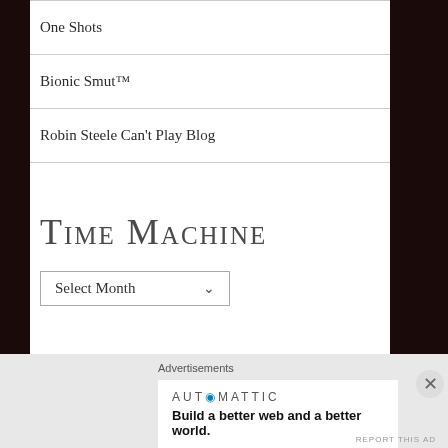One Shots
Bionic Smut™
Robin Steele Can't Play Blog
Time Machine
Select Month
Advertisements
AUT⊙MATTIC
Build a better web and a better world.